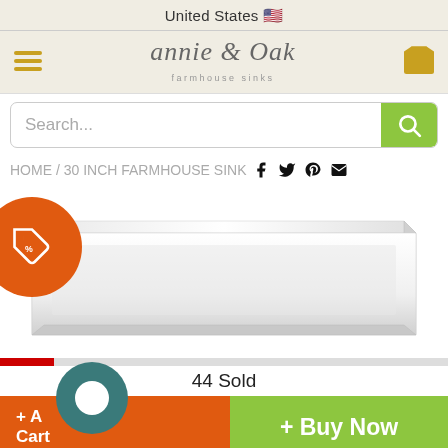United States 🇺🇸
[Figure (logo): Annie & Oak farmhouse sinks logo with hamburger menu and shopping cart icon]
[Figure (screenshot): Search bar with search input and green search button]
HOME / 30 INCH FARMHOUSE SINK
[Figure (photo): White farmhouse sink product photo with orange sale/discount badge on the left]
44 Sold
+ Add to Cart
+ Buy Now